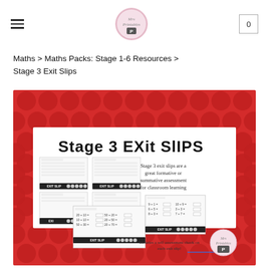Navigation header with hamburger menu, Mrs Printables logo, and cart icon (0)
Maths > Maths Packs: Stage 1-6 Resources > Stage 3 Exit Slips
[Figure (illustration): Product preview image for Stage 3 Exit Slips educational resource. Red polka dot border surrounds white card area. Title reads 'Stage 3 EXIT SLIPS' in large bold black font. Shows thumbnail previews of worksheet pages with EXIT SLIP buttons. Right side text: 'Stage 3 exit slips are a great formative or summative assessment for classroom learning'. Bottom text: 'Includes a self assessment check on each exit slip!' Mrs Printables logo visible bottom right.]